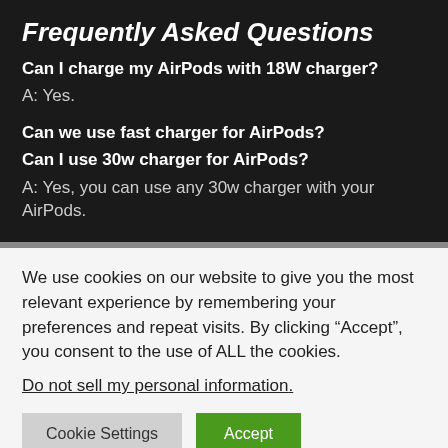Frequently Asked Questions
Can I charge my AirPods with 18W charger?
A: Yes.
Can we use fast charger for AirPods?
Can I use 30w charger for AirPods?
A: Yes, you can use any 30w charger with your AirPods.
We use cookies on our website to give you the most relevant experience by remembering your preferences and repeat visits. By clicking “Accept”, you consent to the use of ALL the cookies.
Do not sell my personal information.